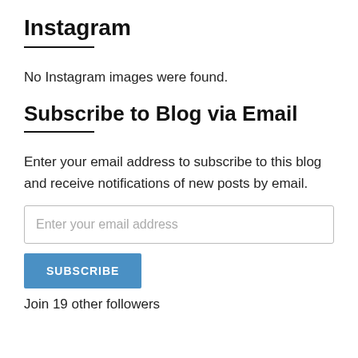Instagram
No Instagram images were found.
Subscribe to Blog via Email
Enter your email address to subscribe to this blog and receive notifications of new posts by email.
Enter your email address
SUBSCRIBE
Join 19 other followers